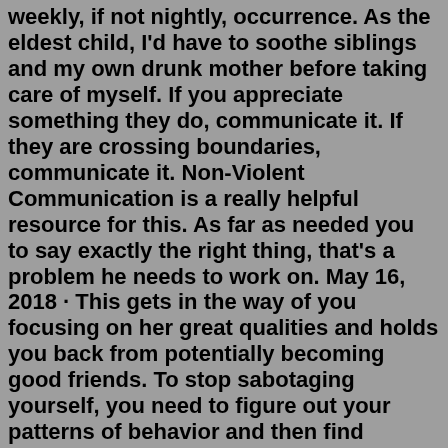weekly, if not nightly, occurrence. As the eldest child, I'd have to soothe siblings and my own drunk mother before taking care of myself. If you appreciate something they do, communicate it. If they are crossing boundaries, communicate it. Non-Violent Communication is a really helpful resource for this. As far as needed you to say exactly the right thing, that's a problem he needs to work on. May 16, 2018 · This gets in the way of you focusing on her great qualities and holds you back from potentially becoming good friends. To stop sabotaging yourself, you need to figure out your patterns of behavior and then find creative ways to counteract them and form new habits. Here are some of the practical strategies I suggest in my book. The only thing you can do is to let the water sit long enough for the mud to settle at the bottom. The same is true of the human mind. There's no way you can think about things to make your mind calm down. The mind only works in one direction: more thinking.Refusing to do something until they get a favor done for them. Deflecting responsibility or